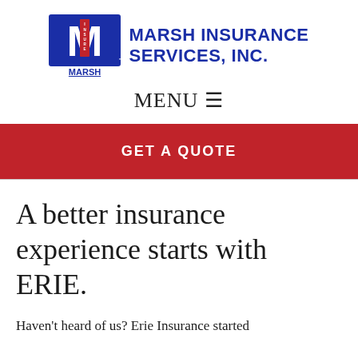[Figure (logo): Marsh Insurance Services, Inc. logo with stylized M and company name in blue]
MENU ≡
GET A QUOTE
A better insurance experience starts with ERIE.
Haven't heard of us? Erie Insurance started